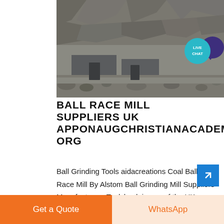[Figure (photo): Outdoor quarry or mining site with rocky terrain, grey metal structures or barriers in the center, large rock face in background]
[Figure (infographic): Live Chat badge - teal circle with white 'LIVE CHAT' text and dark purple speech bubble icon]
BALL RACE MILL SUPPLIERS UK APPONAUGCHRISTIANACADEMY ORG
Ball Grinding Tools aidacreations Coal Ball Race Mill By Alstom Ball Grinding Mill Suppliers Manufacturers Toolshack is one of the UK s Leading online tool shop ...
Get a Quote
WhatsApp